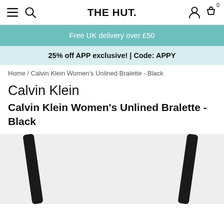THE HUT.
Free UK delivery over £50
25% off APP exclusive! | Code: APPY
Home / Calvin Klein Women's Unlined Bralette - Black
Calvin Klein
Calvin Klein Women's Unlined Bralette - Black
[Figure (photo): Partial view of a black Calvin Klein bralette showing straps against a light grey background]